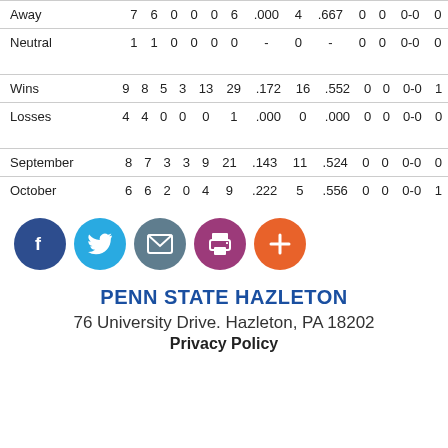|  |  |  |  |  |  |  |  |  |  |  |  |  |
| --- | --- | --- | --- | --- | --- | --- | --- | --- | --- | --- | --- | --- |
| Away | 7 | 6 | 0 | 0 | 0 | 6 | .000 | 4 | .667 | 0 | 0 | 0-0 | 0 |
| Neutral | 1 | 1 | 0 | 0 | 0 | 0 | - | 0 | - | 0 | 0 | 0-0 | 0 |
|  |  |  |  |  |  |  |  |  |  |  |  |  |
| --- | --- | --- | --- | --- | --- | --- | --- | --- | --- | --- | --- | --- |
| Wins | 9 | 8 | 5 | 3 | 13 | 29 | .172 | 16 | .552 | 0 | 0 | 0-0 | 1 |
| Losses | 4 | 4 | 0 | 0 | 0 | 1 | .000 | 0 | .000 | 0 | 0 | 0-0 | 0 |
|  |  |  |  |  |  |  |  |  |  |  |  |  |
| --- | --- | --- | --- | --- | --- | --- | --- | --- | --- | --- | --- | --- |
| September | 8 | 7 | 3 | 3 | 9 | 21 | .143 | 11 | .524 | 0 | 0 | 0-0 | 0 |
| October | 6 | 6 | 2 | 0 | 4 | 9 | .222 | 5 | .556 | 0 | 0 | 0-0 | 1 |
[Figure (infographic): Social media icons: Facebook (blue), Twitter (light blue), Email (grey-teal), Print (purple), Add/Plus (orange)]
PENN STATE HAZLETON
76 University Drive. Hazleton, PA 18202
Privacy Policy